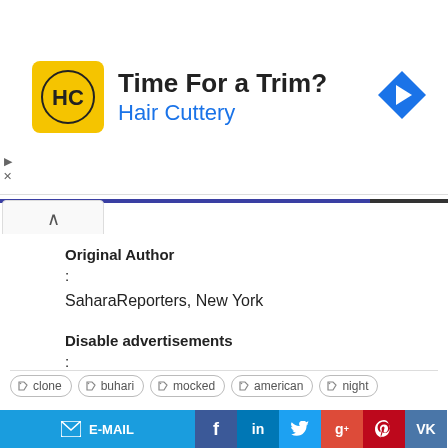[Figure (infographic): Hair Cuttery advertisement banner with yellow logo, 'Time For a Trim?' title, 'Hair Cuttery' subtitle in blue, and a blue navigation arrow icon on the right.]
Original Author
:
SaharaReporters, New York
Disable advertisements
:
clone
buhari
mocked
american
night